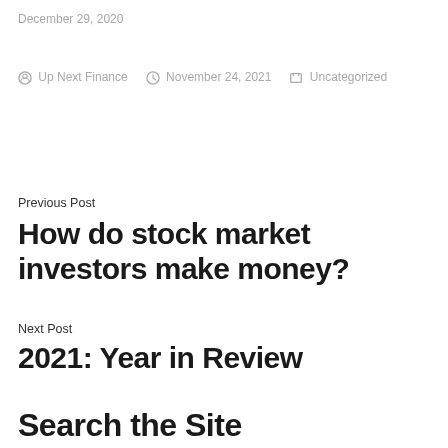December 29, 2020
Up Next Finance  November 24, 2021  Uncategorized
Previous Post
How do stock market investors make money?
Next Post
2021: Year in Review
Search the Site